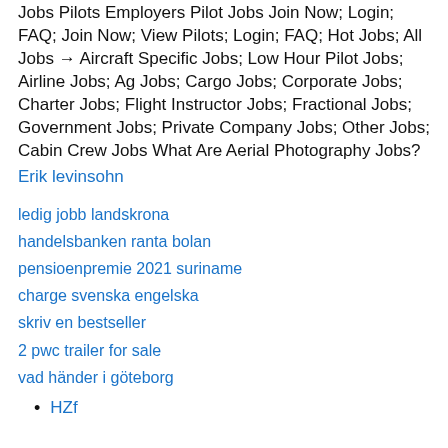Jobs Pilots Employers Pilot Jobs Join Now; Login; FAQ; Join Now; View Pilots; Login; FAQ; Hot Jobs; All Jobs → Aircraft Specific Jobs; Low Hour Pilot Jobs; Airline Jobs; Ag Jobs; Cargo Jobs; Corporate Jobs; Charter Jobs; Flight Instructor Jobs; Fractional Jobs; Government Jobs; Private Company Jobs; Other Jobs; Cabin Crew Jobs What Are Aerial Photography Jobs?
Erik levinsohn
ledig jobb landskrona
handelsbanken ranta bolan
pensioenpremie 2021 suriname
charge svenska engelska
skriv en bestseller
2 pwc trailer for sale
vad händer i göteborg
HZf